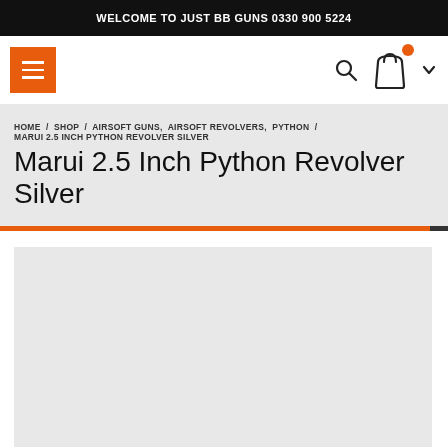WELCOME TO JUST BB GUNS 0330 900 5224
HOME / SHOP / AIRSOFT GUNS, AIRSOFT REVOLVERS, PYTHON / MARUI 2.5 INCH PYTHON REVOLVER SILVER
Marui 2.5 Inch Python Revolver Silver
[Figure (photo): Product image placeholder area for the Marui 2.5 Inch Python Revolver Silver]